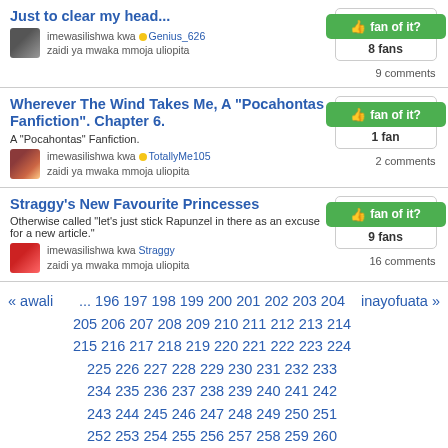Just to clear my head...
imewasilishwa kwa Genius_626
zaidi ya mwaka mmoja uliopita
fan of it? 8 fans 9 comments
Wherever The Wind Takes Me, A "Pocahontas Fanfiction". Chapter 6.
A "Pocahontas" Fanfiction.
imewasilishwa kwa TotallyMe105
zaidi ya mwaka mmoja uliopita
fan of it? 1 fan 2 comments
Straggy's New Favourite Princesses
Otherwise called "let's just stick Rapunzel in there as an excuse for a new article."
imewasilishwa kwa Straggy
zaidi ya mwaka mmoja uliopita
fan of it? 9 fans 16 comments
« awali ... 196 197 198 199 200 201 202 203 204 205 206 207 208 209 210 211 212 213 214 215 216 217 218 219 220 221 222 223 224 225 226 227 228 229 230 231 232 233 234 235 236 237 238 239 240 241 242 243 244 245 246 247 248 249 250 251 252 253 254 255 256 257 258 259 260 inayofuata »